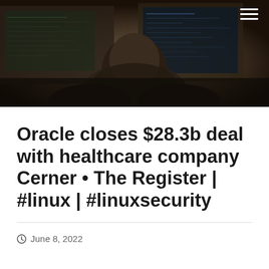[Figure (photo): Dark, moody photo of a person wearing a hoodie sitting in front of computer screens with code/data displayed, viewed from behind. Sepia/dark toned image suggesting cybersecurity or hacking theme.]
Oracle closes $28.3b deal with healthcare company Cerner • The Register | #linux | #linuxsecurity
June 8, 2022